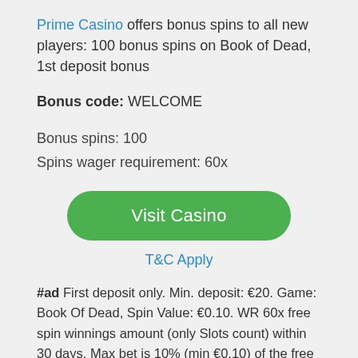Prime Casino offers bonus spins to all new players: 100 bonus spins on Book of Dead, 1st deposit bonus
Bonus code: WELCOME
Bonus spins: 100
Spins wager requirement: 60x
[Figure (other): Green rounded button labeled 'Visit Casino']
T&C Apply
#ad First deposit only. Min. deposit: €20. Game: Book Of Dead, Spin Value: €0.10. WR 60x free spin winnings amount (only Slots count) within 30 days. Max bet is 10% (min €0.10) of the free spin